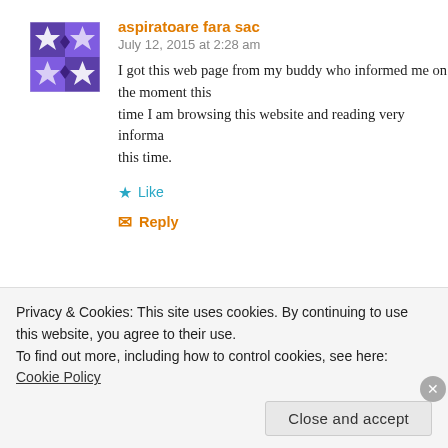[Figure (illustration): Purple and white geometric/quilt-pattern avatar for user aspiratoare fara sac]
aspiratoare fara sac
July 12, 2015 at 2:28 am
I got this web page from my buddy who informed me on the moment this time I am browsing this website and reading very informa this time.
Like
Reply
[Figure (illustration): Yellow-green and white geometric/quilt-pattern avatar for user Brad Button]
Brad Button
January 19, 2017 at 7:52 am
it is important to be able to view relevant feeds that p
Privacy & Cookies: This site uses cookies. By continuing to use this website, you agree to their use.
To find out more, including how to control cookies, see here: Cookie Policy
Close and accept